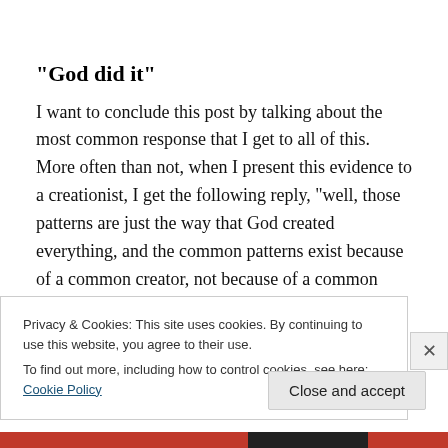“God did it”
I want to conclude this post by talking about the most common response that I get to all of this. More often than not, when I present this evidence to a creationist, I get the following reply, “well, those patterns are just the way that God created everything, and the common patterns exist because of a common creator, not because of a common ancestor.” There are, however, numerous problems with
Privacy & Cookies: This site uses cookies. By continuing to use this website, you agree to their use.
To find out more, including how to control cookies, see here: Cookie Policy
Close and accept